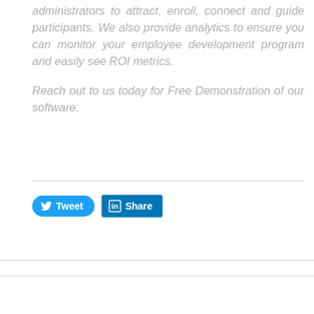administrators to attract, enroll, connect and guide participants. We also provide analytics to ensure you can monitor your employee development program and easily see ROI metrics.

Reach out to us today for Free Demonstration of our software.
[Figure (other): Social media sharing buttons: a blue rounded Twitter 'Tweet' button with bird icon, and a blue square LinkedIn 'Share' button with 'in' icon]